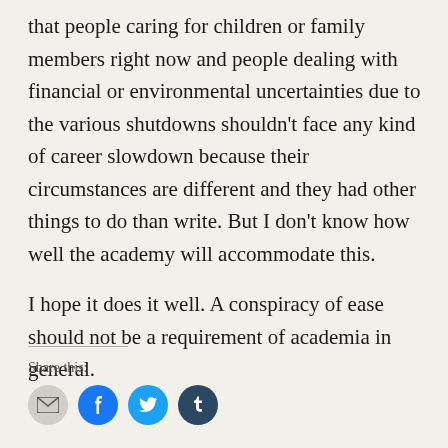that people caring for children or family members right now and people dealing with financial or environmental uncertainties due to the various shutdowns shouldn't face any kind of career slowdown because their circumstances are different and they had other things to do than write. But I don't know how well the academy will accommodate this.

I hope it does it well. A conspiracy of ease should not be a requirement of academia in general.
Share this: